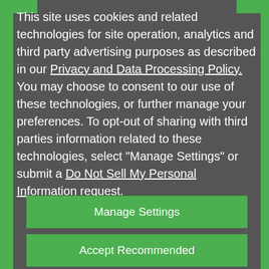This site uses cookies and related technologies for site operation, analytics and third party advertising purposes as described in our Privacy and Data Processing Policy. You may choose to consent to our use of these technologies, or further manage your preferences. To opt-out of sharing with third parties information related to these technologies, select "Manage Settings" or submit a Do Not Sell My Personal Information request.
Manage Settings
Accept Recommended